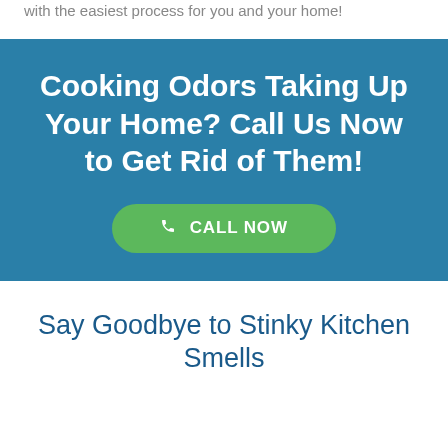give us a call and we'll be on our way to remove those odors with the easiest process for you and your home!
Cooking Odors Taking Up Your Home? Call Us Now to Get Rid of Them!
CALL NOW
Say Goodbye to Stinky Kitchen Smells